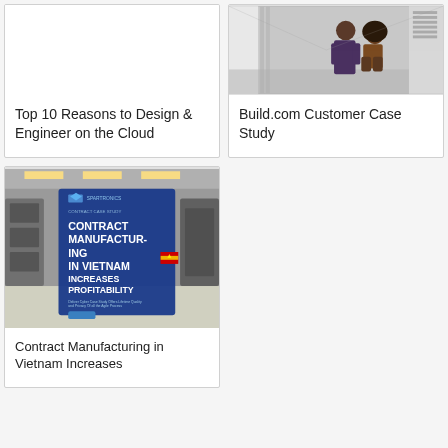[Figure (photo): Blank/white placeholder image for Top 10 Reasons to Design & Engineer on the Cloud card]
Top 10 Reasons to Design & Engineer on the Cloud
[Figure (photo): Two women in a server room, one crouching, examining server rack equipment]
Build.com Customer Case Study
[Figure (photo): Contract manufacturing facility in Vietnam with a blue promotional overlay reading 'CONTRACT MANUFACTURING IN VIETNAM INCREASES PROFITABILITY']
Contract Manufacturing in Vietnam Increases